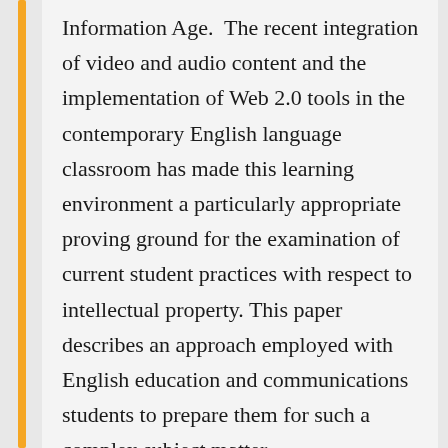Information Age. The recent integration of video and audio content and the implementation of Web 2.0 tools in the contemporary English language classroom has made this learning environment a particularly appropriate proving ground for the examination of current student practices with respect to intellectual property. This paper describes an approach employed with English education and communications students to prepare them for such a complex subject matter.